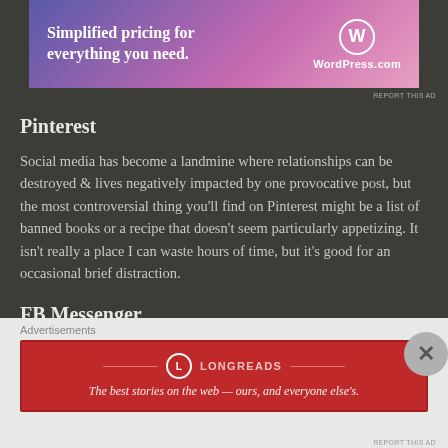[Figure (screenshot): WordPress.com advertisement banner with gradient purple-pink background, showing 'Simplified pricing for everything you need.' with WordPress.com logo]
REPORT THIS AD
Pinterest
Social media has become a landmine where relationships can be destroyed & lives negatively impacted by one provocative post, but the most controversial thing you’ll find on Pinterest might be a list of banned books or a recipe that doesn’t seem particularly appetizing. It isn’t really a place I can waste hours of time, but it’s good for an occasional brief distraction.
FB Messenger
I actually use Messenger more than Facebook
Advertisements
[Figure (screenshot): Longreads advertisement banner with red background showing Longreads logo and tagline 'The best stories on the web — ours, and everyone else’s.']